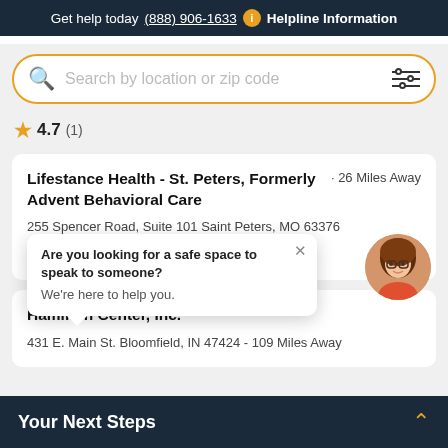Get help today (888) 906-1633  i  Helpline Information
Search by location or zip code
★ 4.7 (1)
Lifestance Health - St. Peters, Formerly Advent Behavioral Care
255 Spencer Road, Suite 101 Saint Peters, MO 63376 · 26 Miles Away
★ 4.5 (2)
Are you looking for a safe space to speak to someone? We're here to help you.
Hamilton Center, Inc.
431 E. Main St. Bloomfield, IN 47424 - 109 Miles Away
Your Next Steps